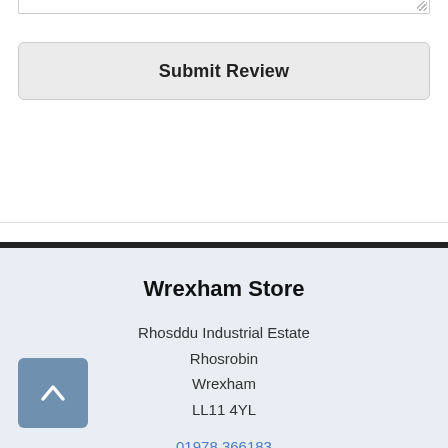[Figure (screenshot): Bottom edge of a textarea input with resize handle]
Submit Review
Wrexham Store
Rhosddu Industrial Estate
Rhosrobin
Wrexham
LL11 4YL
01978 366183